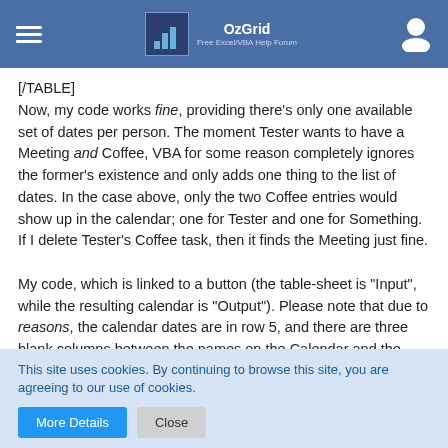OzGrid — Free Excel/VBA Help Forum
[/TABLE]
Now, my code works fine, providing there's only one available set of dates per person. The moment Tester wants to have a Meeting and Coffee, VBA for some reason completely ignores the former's existence and only adds one thing to the list of dates. In the case above, only the two Coffee entries would show up in the calendar; one for Tester and one for Something. If I delete Tester's Coffee task, then it finds the Meeting just fine.

My code, which is linked to a button (the table-sheet is "Input", while the resulting calendar is "Output"). Please note that due to reasons, the calendar dates are in row 5, and there are three blank columns between the names on the Calendar and the start of the Calendar itself (I have to
This site uses cookies. By continuing to browse this site, you are agreeing to our use of cookies.